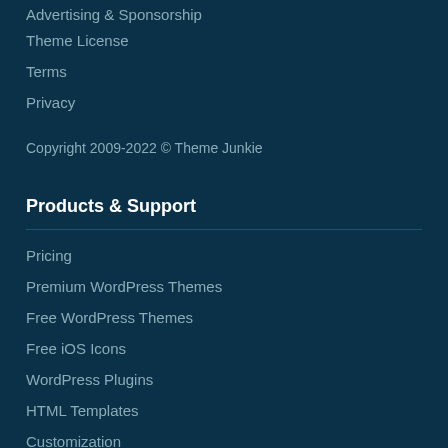Advertising & Sponsorship
Theme License
Terms
Privacy
Copyright 2009-2022 © Theme Junkie
Products & Support
Pricing
Premium WordPress Themes
Free WordPress Themes
Free iOS Icons
WordPress Plugins
HTML Templates
Customization
Support